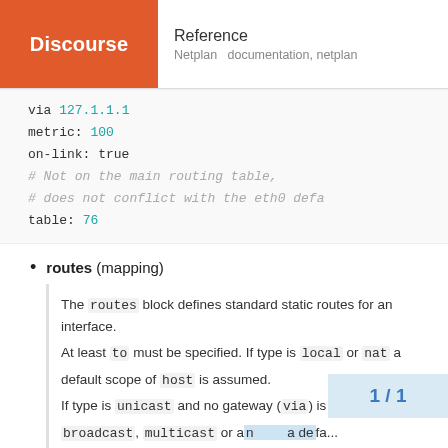Reference
Netplan documentation, netplan
via 127.1.1.1
metric: 100
on-link: true
# Not on the main routing table,
# does not conflict with the eth0 defa
table: 76
routes (mapping)
The routes block defines standard static routes for an interface.
At least to must be specified. If type is local or nat a default scope of host is assumed.
If type is unicast and no gateway (via) is given or type is broadcast, multicast or an ... a default scope of link
is assumed. L...